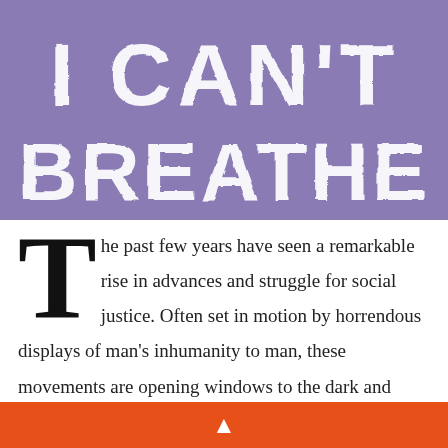[Figure (illustration): Purple banner with large distressed white bold text reading 'I CAN'T BREATHE' in two lines]
The past few years have seen a remarkable rise in advances and struggle for social justice. Often set in motion by horrendous displays of man's inhumanity to man, these movements are opening windows to the dark and dusty corners of our society where cruelties and inhumanities to the weak and underprivileged are piled up daily, seen but not noticed. The "Black Lives Matter" and the "MeToo" movements, campaigns for girls' education, civil and voting rights, or raising the minimum wage...
▲